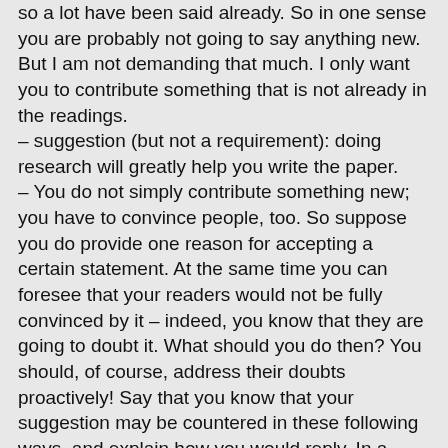so a lot have been said already. So in one sense you are probably not going to say anything new. But I am not demanding that much. I only want you to contribute something that is not already in the readings.
– suggestion (but not a requirement): doing research will greatly help you write the paper.
– You do not simply contribute something new; you have to convince people, too. So suppose you do provide one reason for accepting a certain statement. At the same time you can foresee that your readers would not be fully convinced by it – indeed, you know that they are going to doubt it. What should you do then? You should, of course, address their doubts proactively! Say that you know that your suggestion may be countered in these following ways, and explain how you would reply. In a word, you have to anticipate what others would say to you.
On style
1. Since the paper is very short, cut out anything unnecessary. Go straight to the point.
2. Beautiful language is only a surplus. The most important thing is clarity, clarity, clarity. When people read it, they will